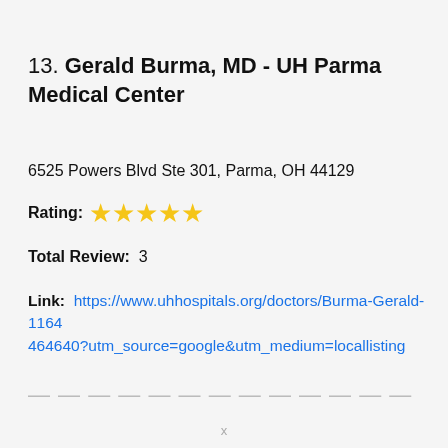13. Gerald Burma, MD - UH Parma Medical Center
6525 Powers Blvd Ste 301, Parma, OH 44129
Rating: ★★★★★
Total Review: 3
Link: https://www.uhhospitals.org/doctors/Burma-Gerald-1164464640?utm_source=google&utm_medium=locallisting